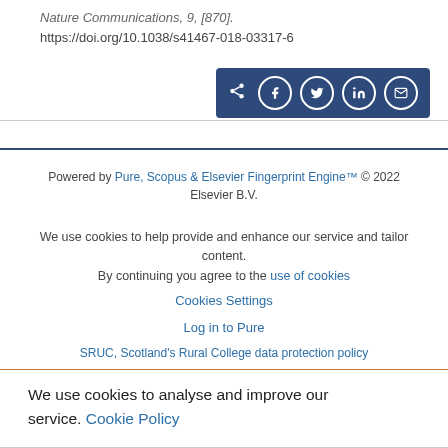Nature Communications, 9, [870]. https://doi.org/10.1038/s41467-018-03317-6
[Figure (other): Social share bar with icons for share, Facebook, Twitter, LinkedIn, and email on a dark blue background]
Powered by Pure, Scopus & Elsevier Fingerprint Engine™ © 2022 Elsevier B.V.
We use cookies to help provide and enhance our service and tailor content. By continuing you agree to the use of cookies
Cookies Settings
Log in to Pure
SRUC, Scotland's Rural College data protection policy
We use cookies to analyse and improve our service. Cookie Policy